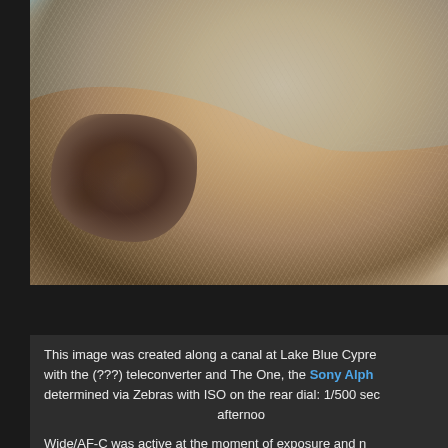[Figure (photo): Close-up photograph of a bird (raptor/hawk) showing detailed feather texture on its back/neck area. Light blue sky background in upper portion. Bird has pale cream and tan feathers with a darker brown mottled patch visible on the lower left. Extremely detailed feather structure visible.]
This image was created along a canal at Lake Blue Cypre with the (???) teleconverter and The One, the Sony Alph determined via Zebras with ISO on the rear dial: 1/500 sec afternoo
Wide/AF-C was active at the moment of exposure and n version
Red-shouldered H...